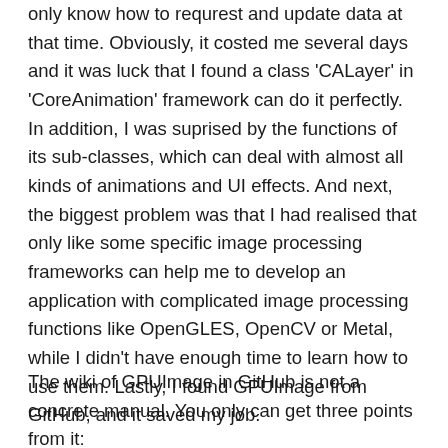only know how to requrest and update data at that time. Obviously, it costed me several days and it was luck that I found a class 'CALayer' in 'CoreAnimation' framework can do it perfectly. In addition, I was suprised by the functions of its sub-classes, which can deal with almost all kinds of animations and UI effects. And next, the biggest problem was that I had realised that only like some specific image processing frameworks can help me to develop an application with complicated image processing functions like OpenGLES, OpenCV or Metal, while I didn't have enough time to learn how to use them. Lastly, I found GPUImage from GitHub, and it saved my job.
The wiki of GPUImage in GitHub is not a concrete manual. You only can get three points from it: